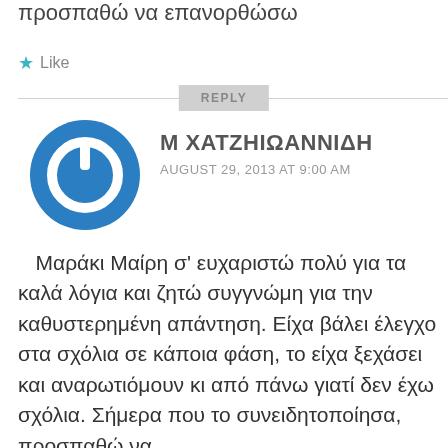προσπαθώ να επανορθώσω
★ Like
REPLY
[Figure (illustration): Blue circular avatar with power button icon in white]
Μ ΧΑΤΖΗΙΩΑΝΝΙΔΗ
AUGUST 29, 2013 AT 9:00 AM
Μαράκι Μαίρη σ' ευχαριστώ πολύ για τα καλά λόγια και ζητώ συγγνώμη για την καθυστερημένη απάντηση. Είχα βάλει έλεγχο στα σχόλια σε κάποια φάση, το είχα ξεχάσει και αναρωτιόμουν κι από πάνω γιατί δεν έχω σχόλια. Σήμερα που το συνειδητοποίησα, προσπαθώ να